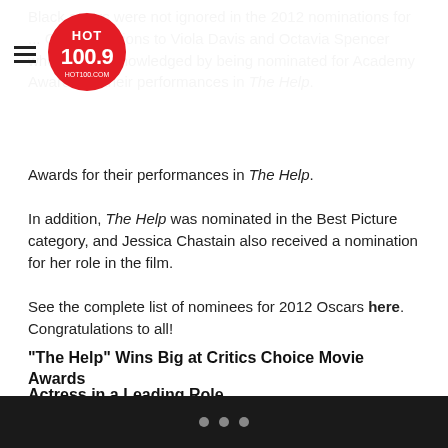HOT 100.9 logo and navigation
Black actors were not ignored in the 2012 nominations for ... Congratulations to Viola Davis and Octavia Spencer who were acknowledged by being nominated for Academy Awards for their performances in The Help.
In addition, The Help was nominated in the Best Picture category, and Jessica Chastain also received a nomination for her role in the film.
See the complete list of nominees for 2012 Oscars here. Congratulations to all!
“The Help” Wins Big at Critics Choice Movie Awards
Actress in a Leading Role
Sharon Stone in “Almost Noble”